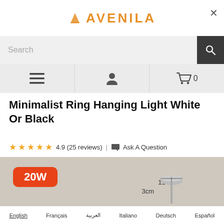AVENILA
Search
Minimalist Ring Hanging Light White Or Black
4.9 (25 reviews) | Ask A Question
[Figure (photo): Product image of a minimalist ring hanging light with dimensions 11cm width and 3cm height labeled, and a 20W power badge in orange]
English  Français  العربية  Italiano  Deutsch  Español